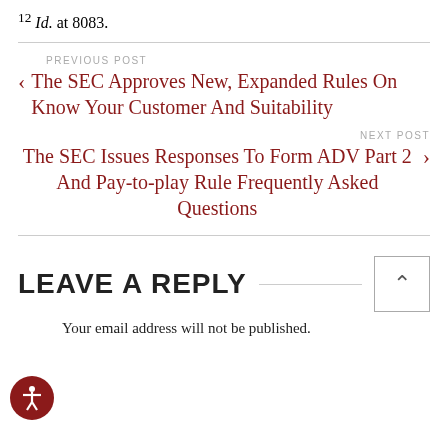12 Id. at 8083.
PREVIOUS POST
< The SEC Approves New, Expanded Rules On Know Your Customer And Suitability
NEXT POST
The SEC Issues Responses To Form ADV Part 2 And Pay-to-play Rule Frequently Asked Questions >
LEAVE A REPLY
Your email address will not be published.